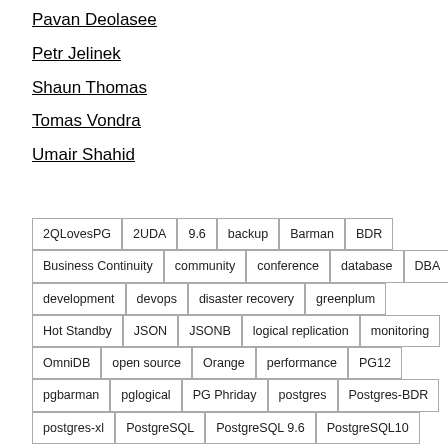Pavan Deolasee
Petr Jelinek
Shaun Thomas
Tomas Vondra
Umair Shahid
| 2QLovesPG | 2UDA | 9.6 | backup | Barman | BDR |
| Business Continuity | community | conference | database | DBA |
| development | devops | disaster recovery | greenplum |
| Hot Standby | JSON | JSONB | logical replication | monitoring |
| OmniDB | open source | Orange | performance | PG12 |
| pgbarman | pglogical | PG Phriday | postgres | Postgres-BDR |
| postgres-xl | PostgreSQL | PostgreSQL 9.6 | PostgreSQL10 |